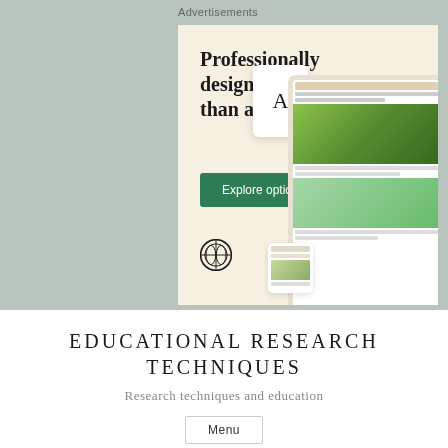Advertisements
[Figure (illustration): WordPress advertisement banner with cream/beige background showing text 'Professionally designed sites in less than a week', a green 'Explore options' button, WordPress logo, and mock website/app screenshots showing food/restaurant site designs.]
EDUCATIONAL RESEARCH TECHNIQUES
Research techniques and education
Menu